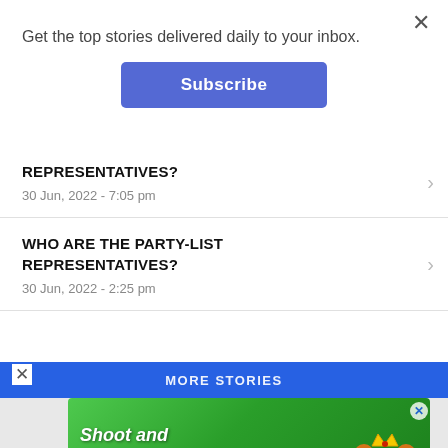Get the top stories delivered daily to your inbox.
Subscribe
REPRESENTATIVES?
30 Jun, 2022 - 7:05 pm
WHO ARE THE PARTY-LIST REPRESENTATIVES?
30 Jun, 2022 - 2:25 pm
MORE STORIES
[Figure (illustration): Game advertisement banner showing cartoon bear character with crown, green bubble-shooter game background, text 'Shoot and blast bubbles! Play Now' and watermark 'Battle Shooter Animal World']